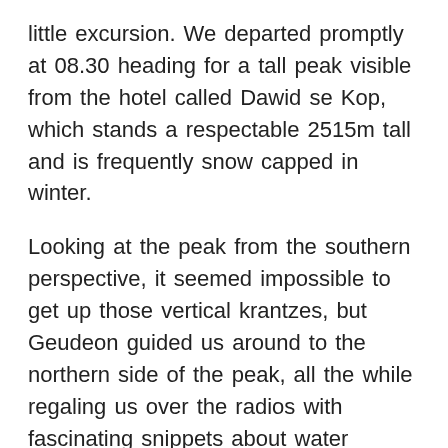little excursion. We departed promptly at 08.30 heading for a tall peak visible from the hotel called Dawid se Kop, which stands a respectable 2515m tall and is frequently snow capped in winter.
Looking at the peak from the southern perspective, it seemed impossible to get up those vertical krantzes, but Geudeon guided us around to the northern side of the peak, all the while regaling us over the radios with fascinating snippets about water arteries in the mountains and the finer points of sheep and cattle farming. We crossed two private farms, which our guide for the day had gone to some trouble to collect keys and permission to cross private land.